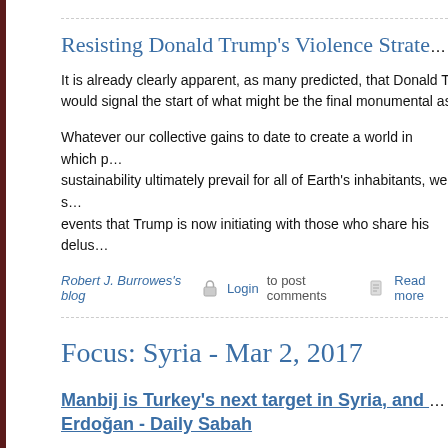Resisting Donald Trump's Violence Strategica…
It is already clearly apparent, as many predicted, that Donald Trum… would signal the start of what might be the final monumental assa…
Whatever our collective gains to date to create a world in which p… sustainability ultimately prevail for all of Earth's inhabitants, we s… events that Trump is now initiating with those who share his delus…
Robert J. Burrowes's blog  Login to post comments  Read more
Focus: Syria - Mar 2, 2017
Manbij is Turkey's next target in Syria, and the SD… Erdoğan - Daily Sabah
'Turkey will hit PKK/PYD in Manbij unless it retrea…